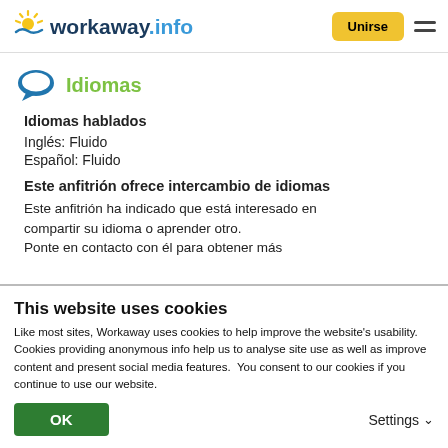[Figure (logo): Workaway.info logo with sun icon]
Idiomas
Idiomas hablados
Inglés: Fluido
Español: Fluido
Este anfitrión ofrece intercambio de idiomas
Este anfitrión ha indicado que está interesado en compartir su idioma o aprender otro. Ponte en contacto con él para obtener más
This website uses cookies
Like most sites, Workaway uses cookies to help improve the website's usability. Cookies providing anonymous info help us to analyse site use as well as improve content and present social media features.  You consent to our cookies if you continue to use our website.
OK
Settings